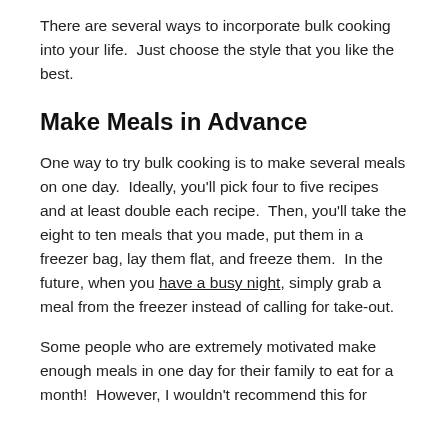There are several ways to incorporate bulk cooking into your life.  Just choose the style that you like the best.
Make Meals in Advance
One way to try bulk cooking is to make several meals on one day.  Ideally, you'll pick four to five recipes and at least double each recipe.  Then, you'll take the eight to ten meals that you made, put them in a freezer bag, lay them flat, and freeze them.  In the future, when you have a busy night, simply grab a meal from the freezer instead of calling for take-out.
Some people who are extremely motivated make enough meals in one day for their family to eat for a month!  However, I wouldn't recommend this for